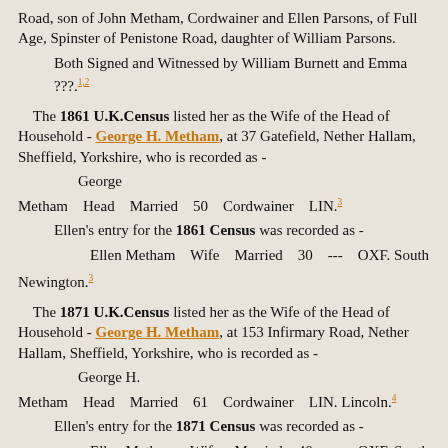Road, son of John Metham, Cordwainer and Ellen Parsons, of Full Age, Spinster of Penistone Road, daughter of William Parsons.
Both Signed and Witnessed by William Burnett and Emma ???.[1,2]
The 1861 U.K.Census listed her as the Wife of the Head of Household - George H. Metham, at 37 Gatefield, Nether Hallam, Sheffield, Yorkshire, who is recorded as -
George Metham Head Married 50 Cordwainer LIN.[3]
Ellen's entry for the 1861 Census was recorded as -
Ellen Metham Wife Married 30 --- OXF. South Newington.[3]
The 1871 U.K.Census listed her as the Wife of the Head of Household - George H. Metham, at 153 Infirmary Road, Nether Hallam, Sheffield, Yorkshire, who is recorded as -
George H. Metham Head Married 61 Cordwainer LIN. Lincoln.[4]
Ellen's entry for the 1871 Census was recorded as -
Ellen Metham Wife Married 40 --- OXF. South Newington.[4]
Ellen Metham was left a Widow on the Death of her husband, George, whose Death was Registered in the Ecclesall Bierlow Registration District, in the Apr-May-Jun Quarter of 1874.[5]
In the 1881 U.K.Census, held on Sunday, 3 April 1881, Ellen